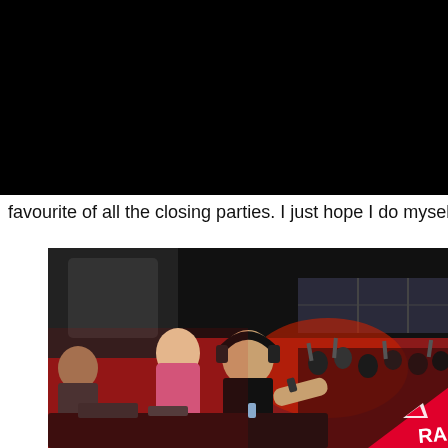[Figure (photo): Black area at top of page, appears to be top portion of a dark venue/club photo]
favourite of all the closing parties. I just hope I do myself, and
[Figure (photo): DJ performing at a nightclub with headphones on, crowd in background with red lighting, Resident Advisor (RA) logo watermark in bottom right corner]